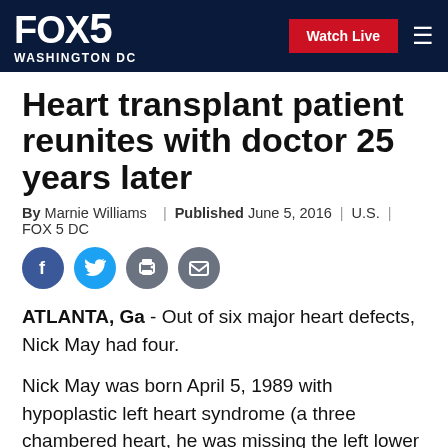FOX 5 WASHINGTON DC | Watch Live
Heart transplant patient reunites with doctor 25 years later
By Marnie Williams | Published June 5, 2016 | U.S. | FOX 5 DC
[Figure (infographic): Social sharing icons: Facebook, Twitter, Print, Email]
ATLANTA, Ga - Out of six major heart defects, Nick May had four.
Nick May was born April 5, 1989 with hypoplastic left heart syndrome (a three chambered heart, he was missing the left lower chamber), transposition of the